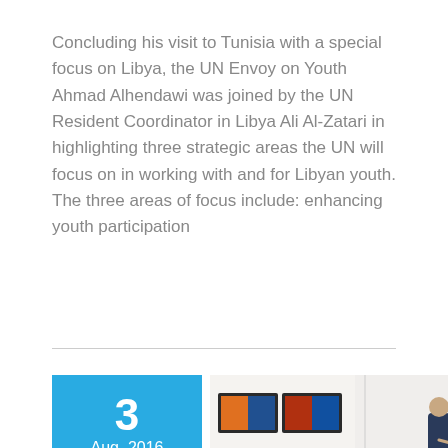Concluding his visit to Tunisia with a special focus on Libya, the UN Envoy on Youth Ahmad Alhendawi was joined by the UN Resident Coordinator in Libya Ali Al-Zatari in highlighting three strategic areas the UN will focus on in working with and for Libyan youth. The three areas of focus include: enhancing youth participation
[Figure (photo): Date badge showing '3' and 'Aug, 2016' in blue, with a pen icon below on grey background. Beside it, a photo of people in a computer lab/media room, with two men in suits standing and several people seated at workstations with monitors.]
Alhendawi Meets Young Libyans, Discusses Their Role